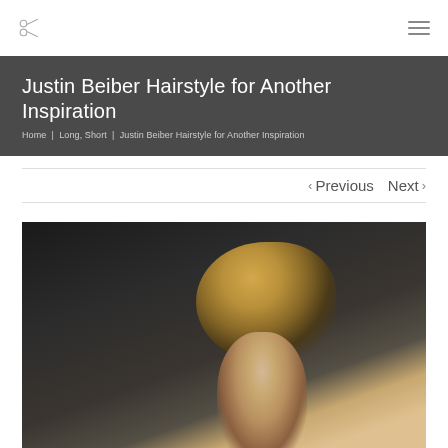scissors icon and hamburger menu
Justin Beiber Hairstyle for Another Inspiration
Home | Long, Short | Justin Beiber Hairstyle for Another Inspiration
< Previous   Next >
[Figure (photo): Black and white/dark toned photo of a young man (Justin Bieber) with styled pompadour/quiff hairstyle, side profile, dark background]